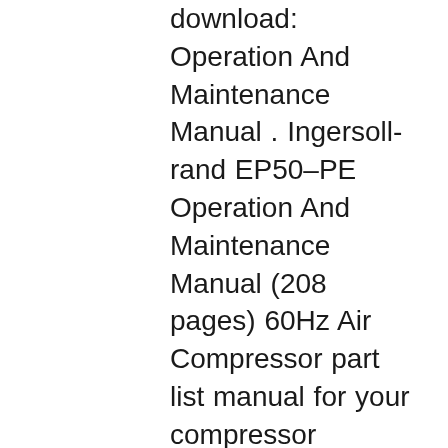download: Operation And Maintenance Manual . Ingersoll-rand EP50–PE Operation And Maintenance Manual (208 pages) 60Hz Air Compressor part list manual for your compressor ingersoll rand ssr ep50se manual de servico gateway boysmongoose crush freestyle bike20 manual vibrations. Ingersoll Rand Ssr Ep50se Manual from our library is free resource for can be fixed perfectly. t30 ingersoll rand compressor manual Parts List T30 Model Online answers: Manual de operador. Ingersoll